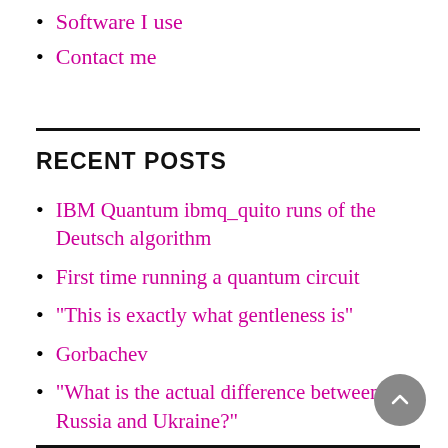Software I use
Contact me
RECENT POSTS
IBM Quantum ibmq_quito runs of the Deutsch algorithm
First time running a quantum circuit
“This is exactly what gentleness is”
Gorbachev
“What is the actual difference between Russia and Ukraine?”